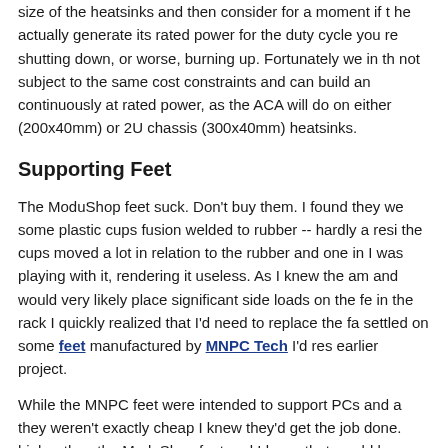size of the heatsinks and then consider for a moment if the actually generate its rated power for the duty cycle you re shutting down, or worse, burning up. Fortunately we in th not subject to the same cost constraints and can build an continuously at rated power, as the ACA will do on either (200x40mm) or 2U chassis (300x40mm) heatsinks.
Supporting Feet
The ModuShop feet suck. Don't buy them. I found they we some plastic cups fusion welded to rubber -- hardly a resi the cups moved a lot in relation to the rubber and one in I was playing with it, rendering it useless. As I knew the am and would very likely place significant side loads on the fe in the rack I quickly realized that I'd need to replace the fa settled on some feet manufactured by MNPC Tech I'd res earlier project.
While the MNPC feet were intended to support PCs and a they weren't exactly cheap I knew they'd get the job done. higher than the ModuShop feet and I knew that would be